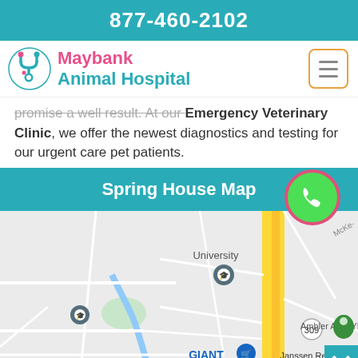877-460-2102
[Figure (logo): Maybank Animal Hospital logo with teal stethoscope icon and hamburger menu button]
promise a well result. At our Emergency Veterinary Clinic, we offer the newest diagnostics and testing for our urgent care pet patients.
Spring House Map
[Figure (map): Google Map showing Spring House area with University label, Ambler Area YMCA marker, GIANT store, Whole Foods Market, Janssen Research and Development, and route 309. Green phone call FAB button overlays the top-right of the map section.]